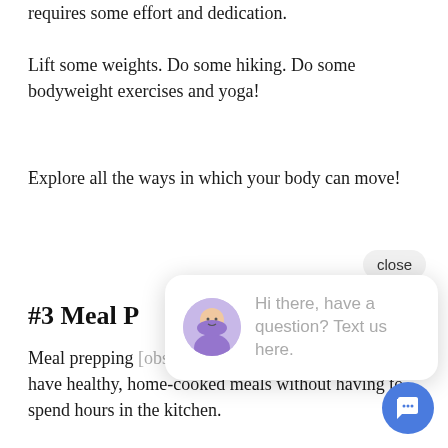requires some effort and dedication.
Lift some weights. Do some hiking. Do some bodyweight exercises and yoga!
Explore all the ways in which your body can move!
#3 Meal P
Meal prepping [obscured] have healthy, home-cooked meals without having to spend hours in the kitchen.
[Figure (screenshot): Chat widget overlay with close button, avatar of a person in a purple hoodie, and text: Hi there, have a question? Text us here. Blue circular chat icon button at bottom right.]